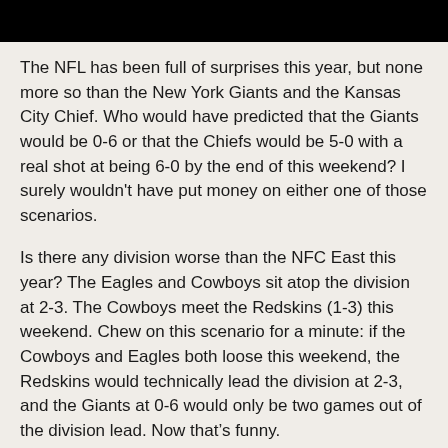[Figure (other): Black rectangular banner at top of page]
The NFL has been full of surprises this year, but none more so than the New York Giants and the Kansas City Chief. Who would have predicted that the Giants would be 0-6 or that the Chiefs would be 5-0 with a real shot at being 6-0 by the end of this weekend? I surely wouldn't have put money on either one of those scenarios.
Is there any division worse than the NFC East this year? The Eagles and Cowboys sit atop the division at 2-3. The Cowboys meet the Redskins (1-3) this weekend. Chew on this scenario for a minute: if the Cowboys and Eagles both loose this weekend, the Redskins would technically lead the division at 2-3, and the Giants at 0-6 would only be two games out of the division lead. Now thatâs funny.